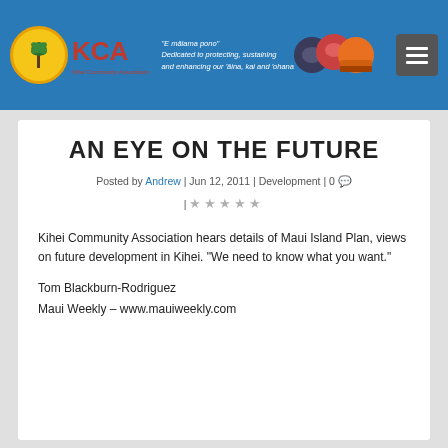[Figure (logo): KCA Kihei Community Association logo with yellow circle, palm tree icon, and red KCA text, alongside circular nature/landscape photos and tagline on blue header background]
AN EYE ON THE FUTURE
Posted by Andrew | Jun 12, 2011 | Development | 0 | ★★★★★
Kihei Community Association hears details of Maui Island Plan, views on future development in Kihei. "We need to know what you want."
Tom Blackburn-Rodriguez
Maui Weekly – www.mauiweekly.com